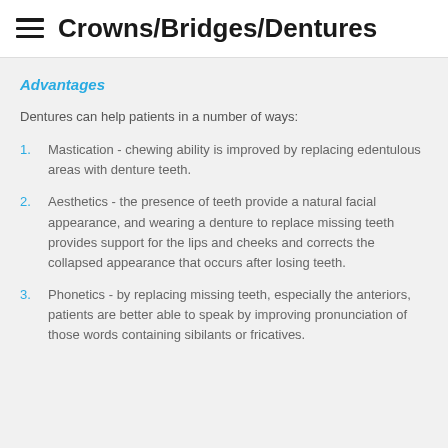Crowns/Bridges/Dentures
Advantages
Dentures can help patients in a number of ways:
Mastication - chewing ability is improved by replacing edentulous areas with denture teeth.
Aesthetics - the presence of teeth provide a natural facial appearance, and wearing a denture to replace missing teeth provides support for the lips and cheeks and corrects the collapsed appearance that occurs after losing teeth.
Phonetics - by replacing missing teeth, especially the anteriors, patients are better able to speak by improving pronunciation of those words containing sibilants or fricatives.